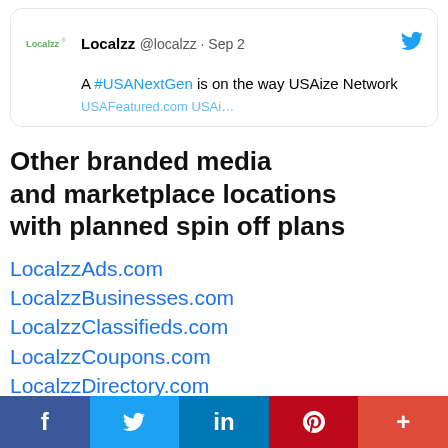[Figure (screenshot): Tweet from Localzz @localzz on Sep 2 saying 'A #USANextGen is on the way USAize Network' with partial link text below, and Twitter bird icon top right.]
Other branded media and marketplace locations with planned spin off plans
LocalzzAds.com
LocalzzBusinesses.com
LocalzzClassifieds.com
LocalzzCoupons.com
LocalzzDirectory.com
LocalzzEmployment.com
LocalzzFeatured.com
Localzz Jobs.com
f  🐦  in  P  +